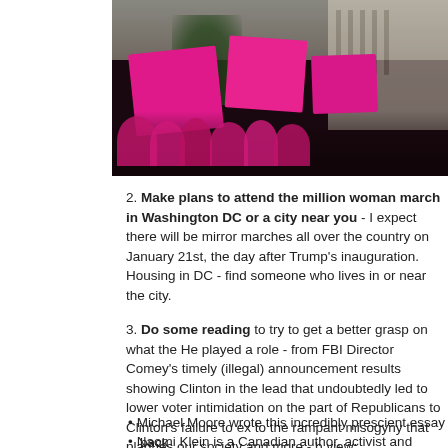[Figure (photo): Photo of protesters wearing pink shirts and holding pink signs at what appears to be a rally or march, with a large government-style building visible in the background.]
2. Make plans to attend the million woman march in Washington DC or a city near you - I expect there will be mirror marches all over the country on January 21st, the day after Trump's inauguration. Housing in DC - find someone who lives in or near the city.
3. Do some reading to try to get a better grasp on what the H played a role - from FBI Director Comey's timely (illegal) announcement... results showing Clinton in the lead that undoubtedly led to lower voter intimidation on the part of Republicans to Clinton's failure to ex to the rampant misogyny that plagues our society and more - b view:
Michael Moore wrote this incredibly prescient essay back
Naomi Klein is a Canadian author, activist and filmmake